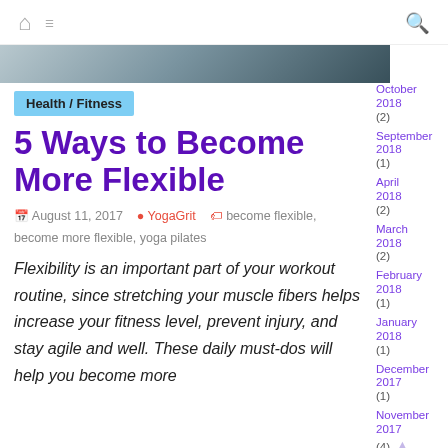Home / Menu / Search navigation icons
[Figure (photo): Dark banner image at top of article]
Health / Fitness
5 Ways to Become More Flexible
August 11, 2017 · YogaGrit · become flexible, become more flexible, yoga pilates
Flexibility is an important part of your workout routine, since stretching your muscle fibers helps increase your fitness level, prevent injury, and stay agile and well. These daily must-dos will help you become more
October 2018 (2)
September 2018 (1)
April 2018 (2)
March 2018 (2)
February 2018 (1)
January 2018 (1)
December 2017 (1)
November 2017 (4)
October